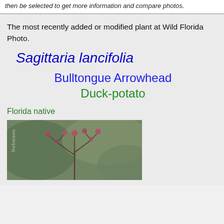then be selected to get more information and compare photos.
The most recently added or modified plant at Wild Florida Photo.
Sagittaria lancifolia
Bulltongue Arrowhead
Duck-potato
Florida native
[Figure (photo): Close-up photo of Sagittaria lancifolia plant with pink/red buds on branching stems against blurred green background. Watermark reads 'Rebmann'.]